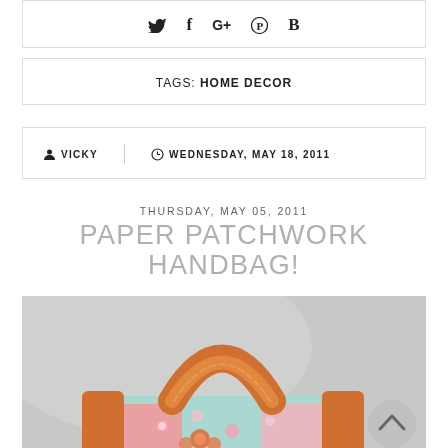[Figure (other): Social share icons: Twitter (bird), Facebook (f), Google+ (G+), Pinterest (P), Bloglovin (B)]
TAGS: HOME DECOR
VICKY  |  WEDNESDAY, MAY 18, 2011
THURSDAY, MAY 05, 2011
PAPER PATCHWORK HANDBAG!
[Figure (photo): Photo of a paper patchwork handbag craft with orange circular handles and floral patterned body in pink and teal colors, against a grey background.]